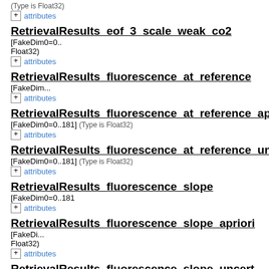(Type is Float32)
+ attributes
RetrievalResults_eof_3_scale_weak_co2 [FakeDim0=0.. Float32)
+ attributes
RetrievalResults_fluorescence_at_reference [FakeDim...
+ attributes
RetrievalResults_fluorescence_at_reference_apriori [FakeDim0=0..181] (Type is Float32)
+ attributes
RetrievalResults_fluorescence_at_reference_uncertainty [FakeDim0=0..181] (Type is Float32)
+ attributes
RetrievalResults_fluorescence_slope [FakeDim0=0..181...
+ attributes
RetrievalResults_fluorescence_slope_apriori [FakeDim... Float32)
+ attributes
RetrievalResults_fluorescence_slope_uncert [FakeDim... Float32)
+ attributes
RetrievalResults_h2o_scale_factor [FakeDim0=0..181] (
+ attributes